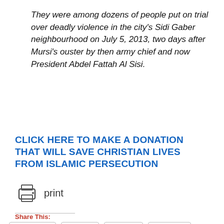They were among dozens of people put on trial over deadly violence in the city's Sidi Gaber neighbourhood on July 5, 2013, two days after Mursi's ouster by then army chief and now President Abdel Fattah Al Sisi.
CLICK HERE TO MAKE A DONATION THAT WILL SAVE CHRISTIAN LIVES FROM ISLAMIC PERSECUTION
[Figure (other): Printer icon with the word 'print' next to it]
Share This:
[Figure (other): Social sharing buttons: Facebook, Twitter, Reddit, LinkedIn]